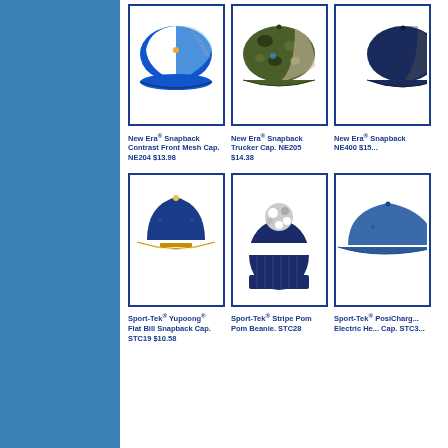[Figure (photo): New Era Snapback Contrast Front Mesh Cap NE204 - blue/white trucker cap]
New Era® Snapback Contrast Front Mesh Cap. NE204 $13.98
[Figure (photo): New Era Snapback Trucker Cap NE205 - camo pattern trucker cap]
New Era® Snapback Trucker Cap. NE205 $14.38
[Figure (photo): New Era Snapback cap NE400 - partially visible]
New Era® Snapback NE400 $15...
[Figure (photo): Sport-Tek Yupoong Flat Bill Snapback Cap STC19 - navy blue with gold brim]
Sport-Tek® Yupoong® Flat Bill Snapback Cap. STC19 $10.58
[Figure (photo): Sport-Tek Stripe Pom Pom Beanie STC28 - navy/white winter hat with pom pom]
Sport-Tek® Stripe Pom Pom Beanie. STC28
[Figure (photo): Sport-Tek PosiCharge Electric Heather Cap STC3x - blue cap, partially visible]
Sport-Tek® PosiCharge® Electric Heather Cap. STC3...